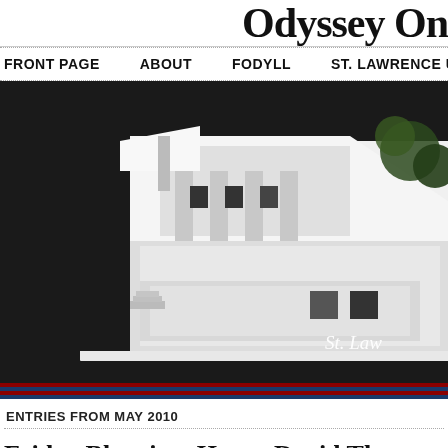Odyssey On
FRONT PAGE   ABOUT   FODYLL   ST. LAWRENCE U
[Figure (photo): Aerial/isometric architectural model photograph of a white modernist building, likely St. Lawrence University building, with trees in the background. Caption text 'St. Law' visible in bottom right.]
ENTRIES FROM MAY 2010
Friday Blogging, Henry David Thoreau
May 28th, 2010 · Comments Off
…partly because my seventeen year old son is writing a fifteen page paper on T